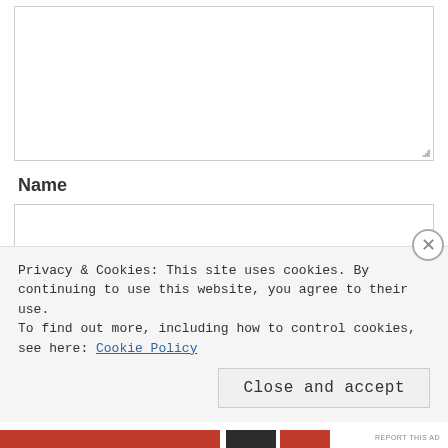[Figure (screenshot): A textarea input box (empty, resizable) at the top of the page, partially cropped]
Name
[Figure (screenshot): A text input box labeled Name (empty)]
Email
[Figure (screenshot): A text input box labeled Email (partially visible)]
Privacy & Cookies: This site uses cookies. By continuing to use this website, you agree to their use.
To find out more, including how to control cookies, see here: Cookie Policy
Close and accept